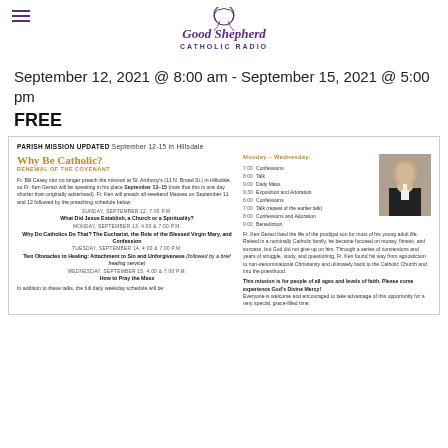Good Shepherd Catholic Radio
September 12, 2021 @ 8:00 am - September 15, 2021 @ 5:00 pm
FREE
[Figure (infographic): Parish Mission flyer: PARISH MISSION UPDATED September 12-15 in Hillsdale. Why Be Catholic? Renewal of the Covenant. Fr. Bill Casey replaced by Fr. Ken Geraci speaking September 12-15. Schedule of talks Sunday-Wednesday. Monday-Wednesday daily schedule. Bio of Fr. Ken Geraci. Mission statement.]